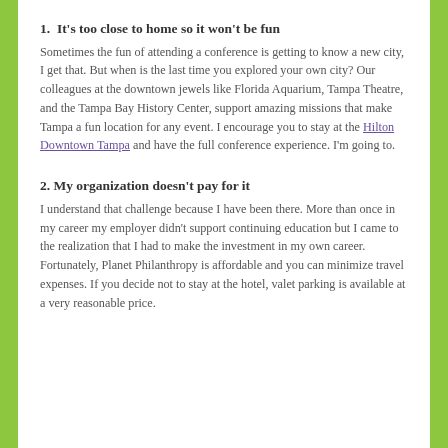1.  It's too close to home so it won't be fun
Sometimes the fun of attending a conference is getting to know a new city, I get that. But when is the last time you explored your own city? Our colleagues at the downtown jewels like Florida Aquarium, Tampa Theatre, and the Tampa Bay History Center, support amazing missions that make Tampa a fun location for any event. I encourage you to stay at the Hilton Downtown Tampa and have the full conference experience. I'm going to.
2. My organization doesn't pay for it
I understand that challenge because I have been there. More than once in my career my employer didn't support continuing education but I came to the realization that I had to make the investment in my own career. Fortunately, Planet Philanthropy is affordable and you can minimize travel expenses. If you decide not to stay at the hotel, valet parking is available at a very reasonable price.